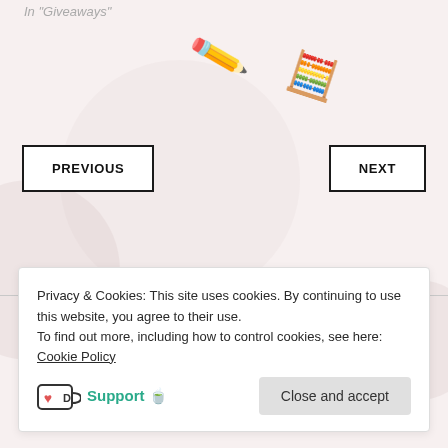In "Giveaways"
[Figure (illustration): Pencil emoji tilted at an angle]
[Figure (illustration): Calculator emoji tilted at an angle]
PREVIOUS
NEXT
Leave a Reply
Privacy & Cookies: This site uses cookies. By continuing to use this website, you agree to their use.
To find out more, including how to control cookies, see here: Cookie Policy
Support 🍵
Close and accept